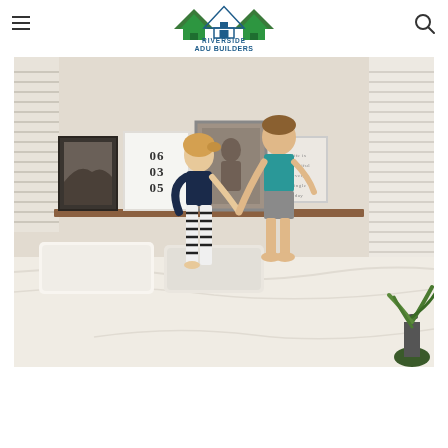Riverside ADU Builders
[Figure (photo): Two children jumping on a white bed in a light bedroom. The girl wears a navy top and black-and-white striped leggings; the boy wears a teal tank top and gray shorts. Behind them is a wooden shelf with framed artwork including one reading 06 03 05. A plant is visible in the bottom right corner.]